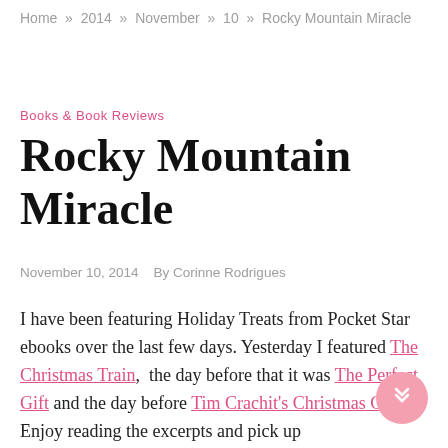Home » 2014 » November » 10 » Rocky Mountain Miracle
Books & Book Reviews
Rocky Mountain Miracle
November 10, 2014   By Corinne Rodrigues
I have been featuring Holiday Treats from Pocket Star ebooks over the last few days. Yesterday I featured The Christmas Train , the day before that it was The Perfect Gift and the day before Tim Crachit's Christmas Carol. Enjoy reading the excerpts and pick up